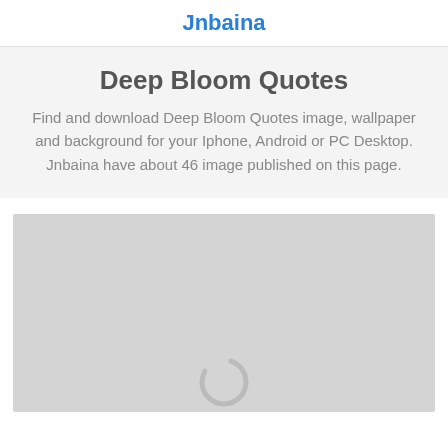Jnbaina
Deep Bloom Quotes
Find and download Deep Bloom Quotes image, wallpaper and background for your Iphone, Android or PC Desktop. Jnbaina have about 46 image published on this page.
[Figure (other): A loading placeholder image area with a grey background and a spinner icon at the bottom center]